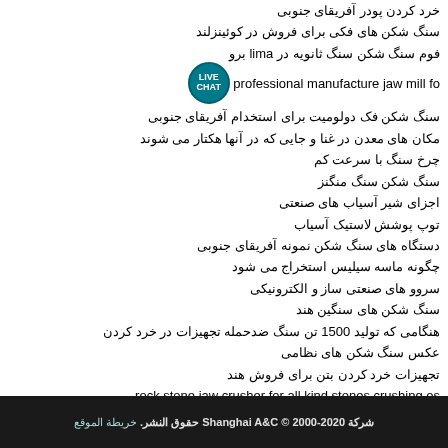خرد کردن پودر آفریقای جنوبی
سنگ شکن های فکی برای فروش در کوئینزلند
فوم سنگ شکن سنگ ثانویه در lima برو
professional manufacture jaw mill fo... LIVE CHAT
سنگ شکن فک دولومیت برای استخدام آفریقای جنوبی
مکان های معدن در غنا و جایی که در آنها هکتار می شوند
چرخ سنگ با سرعت کم
سنگ شکن سنگ منگنز
اجزای شیر آسیاب های صنعتی
توپ پوشش لاستیک آسیاب
دستگاه های سنگ شکن نمونه آفریقای جنوبی
چگونه ماسه سیلیس استخراج می شود
سروو های صنعتی ساز و الکترونیکی
سنگ شکن های سنگین هند
هنگامی که تولید 1500 تن سنگ ضدحمله تجهیزات در خرد کردن
عکس سنگ شکن های نظامی
تجهیزات خرد کردن بتن برای فروش هند
rock stone jaw crusher for all kind stones crushing os
شرکة Shanghai A&C © 2000-2020 حقوق النشر. خريطة الموقع